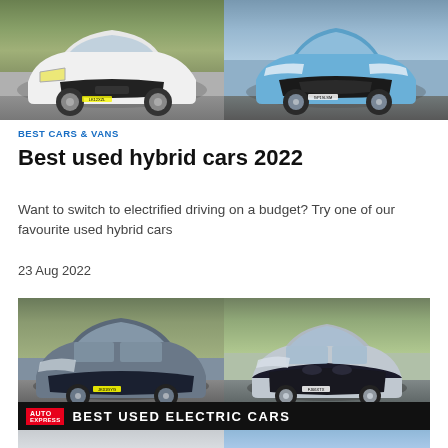[Figure (photo): Two hybrid cars side by side: white Vauxhall Ampera on left, blue Toyota Prius on right, both shown from front three-quarter view on road]
BEST CARS & VANS
Best used hybrid cars 2022
Want to switch to electrified driving on a budget? Try one of our favourite used hybrid cars
23 Aug 2022
[Figure (photo): Collage of electric cars with Auto Express branding: grey Kia Niro EV top left, silver BMW i3 top right, partial views of white Tesla and blue car at bottom. Banner reads BEST USED ELECTRIC CARS]